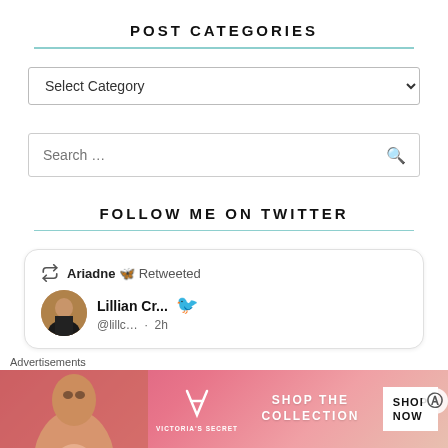POST CATEGORIES
[Figure (screenshot): Select Category dropdown input]
[Figure (screenshot): Search input field with magnifying glass icon]
FOLLOW ME ON TWITTER
[Figure (screenshot): Twitter card showing Ariadne retweeted, Lillian Cr... @lillc... 2h]
Advertisements
[Figure (screenshot): Victoria's Secret advertisement banner: SHOP THE COLLECTION, SHOP NOW button]